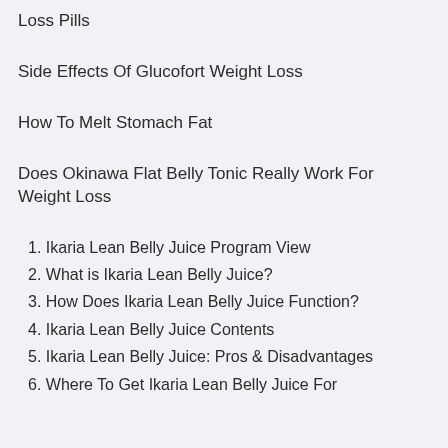Loss Pills
Side Effects Of Glucofort Weight Loss
How To Melt Stomach Fat
Does Okinawa Flat Belly Tonic Really Work For Weight Loss
1. Ikaria Lean Belly Juice Program View
2. What is Ikaria Lean Belly Juice?
3. How Does Ikaria Lean Belly Juice Function?
4. Ikaria Lean Belly Juice Contents
5. Ikaria Lean Belly Juice: Pros & Disadvantages
6. Where To Get Ikaria Lean Belly Juice For